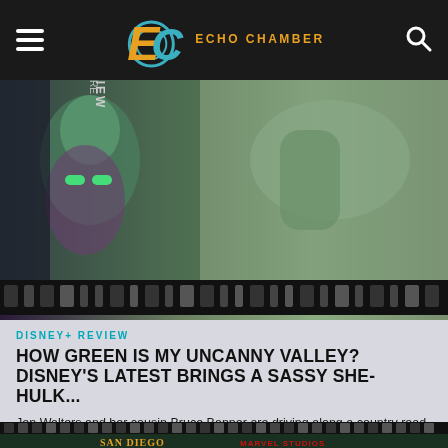Echo Chamber
[Figure (photo): Hero image showing She-Hulk and related Marvel characters with a film strip overlay at the bottom]
DISNEY+ REVIEW
HOW GREEN IS MY UNCANNY VALLEY? DISNEY'S LATEST BRINGS A SASSY SHE-HULK...
Jen Walters and her cousin Bruce Banner are driving along a country road when an unexpected close encounter causes them to veer off the road and crash. Banner is...
[Figure (photo): Bottom partial image showing San Diego Comic-Con panel with Marvel Studios branding and She-Hulk imagery]